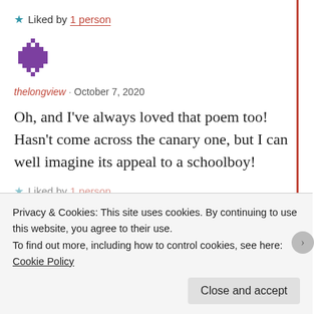★ Liked by 1 person
[Figure (illustration): Purple pixel/geometric avatar icon for user thelongview]
thelongview · October 7, 2020
Oh, and I've always loved that poem too! Hasn't come across the canary one, but I can well imagine its appeal to a schoolboy!
★ Liked by 1 person
Privacy & Cookies: This site uses cookies. By continuing to use this website, you agree to their use.
To find out more, including how to control cookies, see here: Cookie Policy